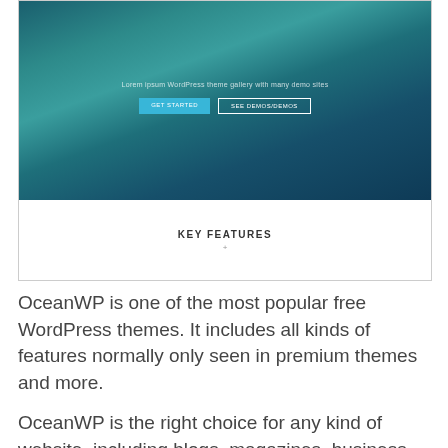[Figure (screenshot): Screenshot of OceanWP WordPress theme hero section showing an ocean background with 'GET STARTED' and 'SEE DEMOS' buttons and 'KEY FEATURES' section below]
OceanWP is one of the most popular free WordPress themes. It includes all kinds of features normally only seen in premium themes and more.
OceanWP is the right choice for any kind of website, including blogs, magazines, business websites and eCommerce stores.
This website contains multiple layout choices,